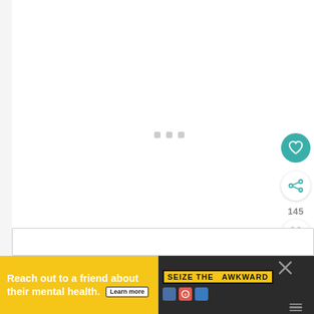[Figure (screenshot): White content area with three small gray loading dots/squares in the center, suggesting content is loading. On the right side are UI buttons: a teal heart/like button, a white share button, a count of 145, a white heart button, a comments icon, and a muted search/magnifier button. Below is an input row and a 'Reach out to a friend about their mental health. SEIZE THE AWKWARD Learn more' advertisement banner at the bottom.]